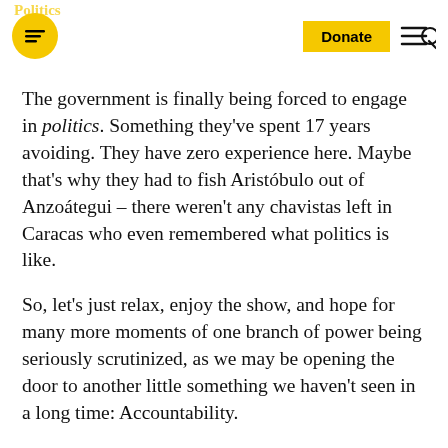Politics | Donate [menu]
The government is finally being forced to engage in politics. Something they've spent 17 years avoiding. They have zero experience here. Maybe that's why they had to fish Aristóbulo out of Anzoátegui – there weren't any chavistas left in Caracas who even remembered what politics is like.
So, let's just relax, enjoy the show, and hope for many more moments of one branch of power being seriously scrutinized, as we may be opening the door to another little something we haven't seen in a long time: Accountability.